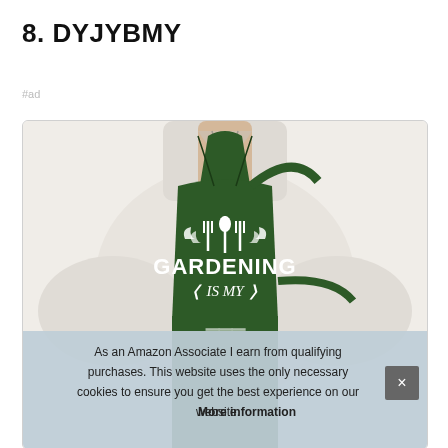8. DYJYBMY
#ad
[Figure (photo): Person wearing a dark green gardening apron with text 'GARDENING IS MY...' and gardening tool graphics (fork, shovel, rake) on it, wearing a white shirt underneath. The bottom portion is overlaid with a cookie consent notice.]
As an Amazon Associate I earn from qualifying purchases. This website uses the only necessary cookies to ensure you get the best experience on our website. More information